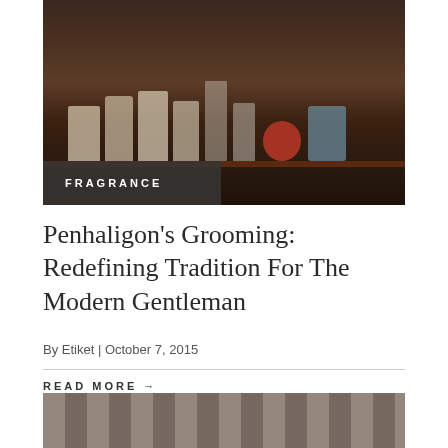[Figure (photo): Penhaligon's grooming products including bottles of Bayolea cologne/fragrance lined up on a wooden shelf, along with a red jar and blue tube, against a stone wall background. A 'FRAGRANCE' label overlay appears at bottom left of the image.]
Penhaligon's Grooming: Redefining Tradition For The Modern Gentleman
By Etiket | October 7, 2015
READ MORE →
[Figure (photo): Partial view of dark shelves filled with various round and rectangular items, likely soap or product containers.]